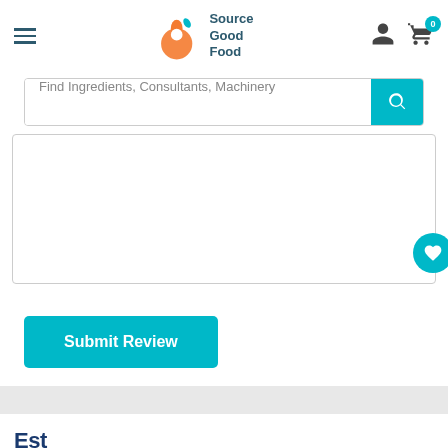[Figure (logo): Source Good Food logo with orange hand/circle icon and teal text]
Find Ingredients, Consultants, Machinery
[Figure (other): Review text area input box (empty)]
Submit Review
Est...
Country
VIP REWARD POINTS
Contact Us